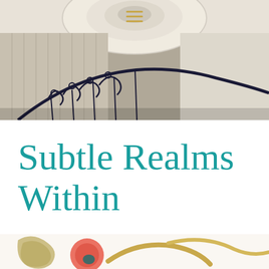[Figure (photo): Overhead view of a spiral staircase with ornate dark ironwork railing against white/cream walls, photographed from above, with warm taupe/grey tones]
Subtle Realms Within
[Figure (photo): Partial view of a colorful decorative sculpture or artwork with crescent/curved shapes in gold and earth tones with a round pink/red element, visible at the bottom of the page]